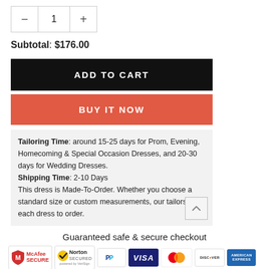- 1 +
Subtotal: $176.00
ADD TO CART
BUY IT NOW
Tailoring Time: around 15-25 days for Prom, Evening, Homecoming & Special Occasion Dresses, and 20-30 days for Wedding Dresses. Shipping Time: 2-10 Days This dress is Made-To-Order. Whether you choose a standard size or custom measurements, our tailors craft each dress to order.
Guaranteed safe & secure checkout
[Figure (infographic): Payment badges: McAfee SECURE, Norton SECURED powered by VeriSign, PayPal, VISA, Mastercard, DISCOVER, AMERICAN EXPRESS]